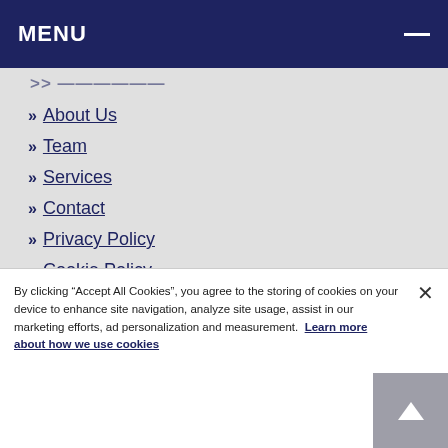MENU
About Us
Team
Services
Contact
Privacy Policy
Cookie Policy
By clicking “Accept All Cookies”, you agree to the storing of cookies on your device to enhance site navigation, analyze site usage, assist in our marketing efforts, ad personalization and measurement. Learn more about how we use cookies